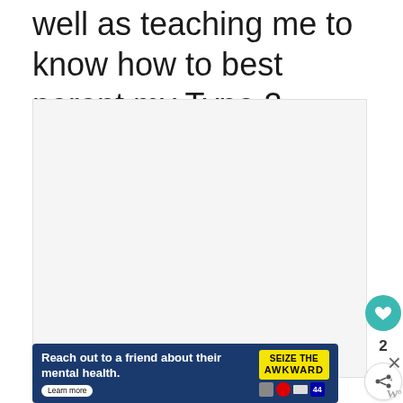well as teaching me to know how to best parent my Type 2 daughter.
[Figure (photo): Empty image/slideshow placeholder with three navigation dots at the bottom]
[Figure (infographic): Advertisement banner: 'Reach out to a friend about their mental health. Learn more' with SEIZE THE AWKWARD yellow badge and mental health icons]